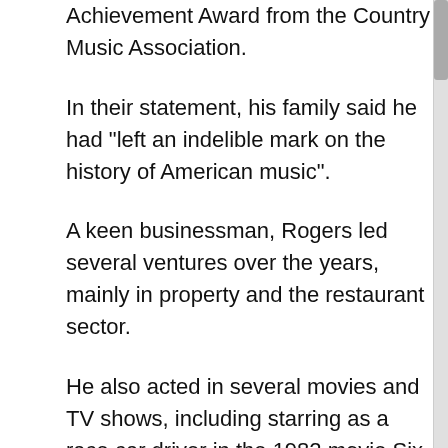Achievement Award from the Country Music Association.
In their statement, his family said he had "left an indelible mark on the history of American music".
A keen businessman, Rogers led several ventures over the years, mainly in property and the restaurant sector.
He also acted in several movies and TV shows, including starring as a race car driver in the 1982 movie Six Pack.
During an interview with the BBC in 2013, he recalled his "obsession" with tennis, and said he became so good that he ranked higher than Bjorn Borg in the ATBl... [continues]